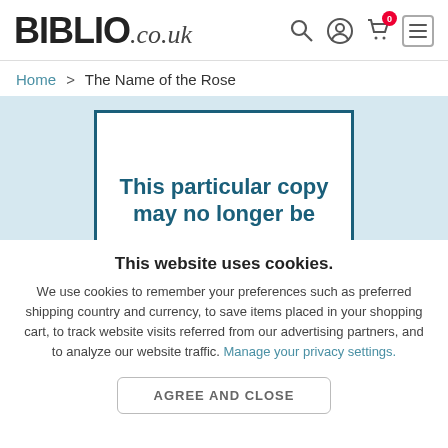BIBLIO.co.uk
Home > The Name of the Rose
[Figure (screenshot): Partial banner with dark teal border and white background showing text: 'This particular copy may no longer be']
This website uses cookies.
We use cookies to remember your preferences such as preferred shipping country and currency, to save items placed in your shopping cart, to track website visits referred from our advertising partners, and to analyze our website traffic. Manage your privacy settings.
AGREE AND CLOSE